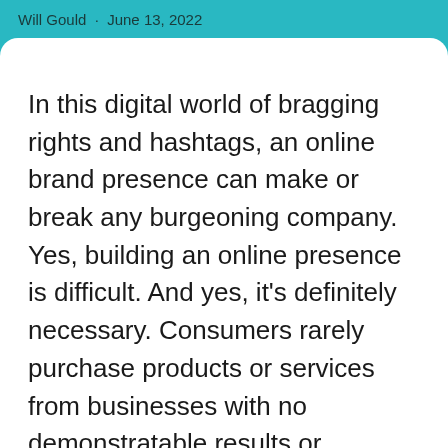Will Gould · June 13, 2022
In this digital world of bragging rights and hashtags, an online brand presence can make or break any burgeoning company. Yes, building an online presence is difficult. And yes, it's definitely necessary. Consumers rarely purchase products or services from businesses with no demonstratable results or customer base.
Brand presence is one of the most